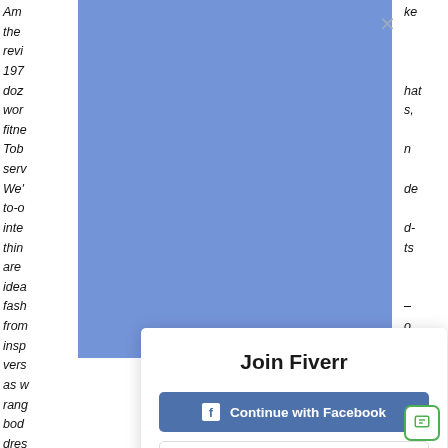[Figure (screenshot): Screenshot of a website page with a 'Join Fiverr' modal overlay. The modal contains options to Continue with Facebook, Continue with Google, Continue with Apple, an OR divider, and an email input field. Behind the modal is a blue header region and partially visible italic text on the left and right edges. A close (X) button appears in the top-right of the blue region. A green chat widget icon appears in the bottom-right corner.]